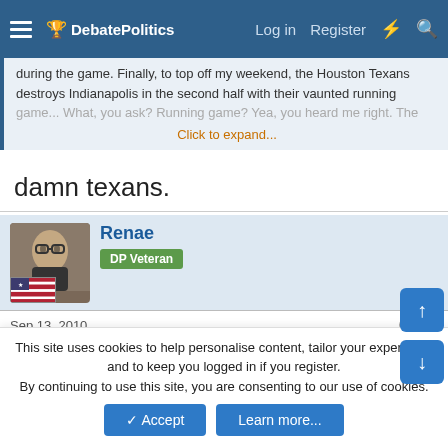DebatePolitics — Log in | Register
during the game. Finally, to top off my weekend, the Houston Texans destroys Indianapolis in the second half with their vaunted running game... What, you ask? Running game? Yea, you heard me right. The
Click to expand...
damn texans.
Renae
DP Veteran
Sep 13, 2010
#5
liblady said:
damn texans.
This site uses cookies to help personalise content, tailor your experience and to keep you logged in if you register.
By continuing to use this site, you are consenting to our use of cookies.